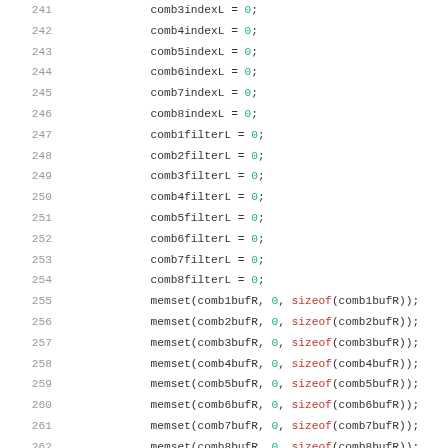Code listing lines 241-263 showing variable assignments and memset calls in C code
241    comb3indexL = 0;
242    comb4indexL = 0;
243    comb5indexL = 0;
244    comb6indexL = 0;
245    comb7indexL = 0;
246    comb8indexL = 0;
247    comb1filterL = 0;
248    comb2filterL = 0;
249    comb3filterL = 0;
250    comb4filterL = 0;
251    comb5filterL = 0;
252    comb6filterL = 0;
253    comb7filterL = 0;
254    comb8filterL = 0;
255    memset(comb1bufR, 0, sizeof(comb1bufR));
256    memset(comb2bufR, 0, sizeof(comb2bufR));
257    memset(comb3bufR, 0, sizeof(comb3bufR));
258    memset(comb4bufR, 0, sizeof(comb4bufR));
259    memset(comb5bufR, 0, sizeof(comb5bufR));
260    memset(comb6bufR, 0, sizeof(comb6bufR));
261    memset(comb7bufR, 0, sizeof(comb7bufR));
262    memset(comb8bufR, 0, sizeof(comb8bufR));
263    comb1indexR = 0;